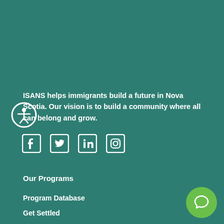ISANS helps immigrants build a future in Nova Scotia. Our vision is to build a community where all can belong and grow.
[Figure (illustration): Accessibility icon: a circle outline with a white stick figure in the universal access pose]
[Figure (illustration): Social media icons row: Facebook, Twitter, LinkedIn, Instagram — all white outlines on teal background]
Our Programs
Program Database
Get Settled
[Figure (illustration): Green circular chat/support button in the bottom-right corner with a speech bubble icon]